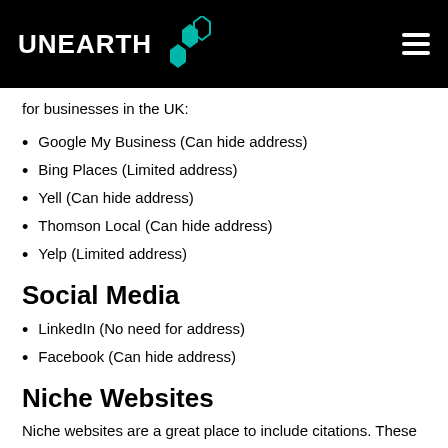UNEARTH
for businesses in the UK:
Google My Business (Can hide address)
Bing Places (Limited address)
Yell (Can hide address)
Thomson Local (Can hide address)
Yelp (Limited address)
Social Media
LinkedIn (No need for address)
Facebook (Can hide address)
Niche Websites
Niche websites are a great place to include citations. These